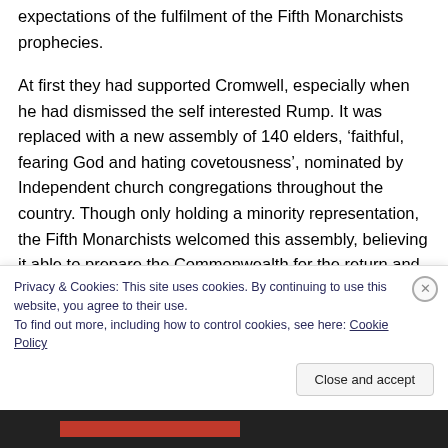expectations of the fulfilment of the Fifth Monarchists prophecies.
At first they had supported Cromwell, especially when he had dismissed the self interested Rump. It was replaced with a new assembly of 140 elders, ‘faithful, fearing God and hating covetousness’, nominated by Independent church congregations throughout the country. Though only holding a minority representation, the Fifth Monarchists welcomed this assembly, believing it able to prepare the Commonwealth for the return and rule of Christ. But the ‘Barebone’s Parliament’, named after one of its most
Privacy & Cookies: This site uses cookies. By continuing to use this website, you agree to their use. To find out more, including how to control cookies, see here: Cookie Policy